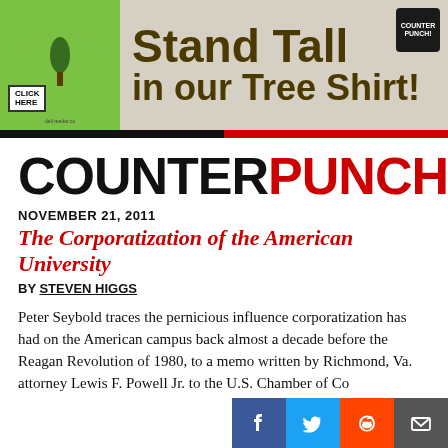[Figure (illustration): Banner advertisement for CounterPunch 'Stand Tall in our Tree Shirt!' showing a green t-shirt with tree design, click here button, and the banner text in dark olive/brown bold font on grey background]
NOVEMBER 21, 2011
The Corporatization of the American University
BY STEVEN HIGGS
Peter Seybold traces the pernicious influence corporatization has had on the American campus back almost a decade before the Reagan Revolution of 1980, to a memo written by Richmond, Va. attorney Lewis F. Powell Jr. to the U.S. Chamber of Commerce.